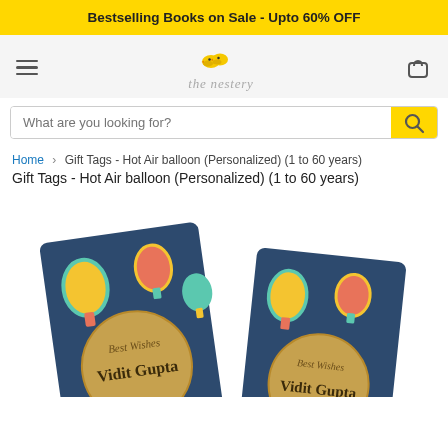Bestselling Books on Sale - Upto 60% OFF
[Figure (logo): The Nestery logo with two yellow birds and cursive text 'the nestery']
What are you looking for?
Home > Gift Tags - Hot Air balloon (Personalized) (1 to 60 years)
Gift Tags - Hot Air balloon (Personalized) (1 to 60 years)
[Figure (photo): Two dark navy blue gift tags with colorful hot air balloons, each featuring a golden circle with text 'Best Wishes' and 'Vidit Gupta']